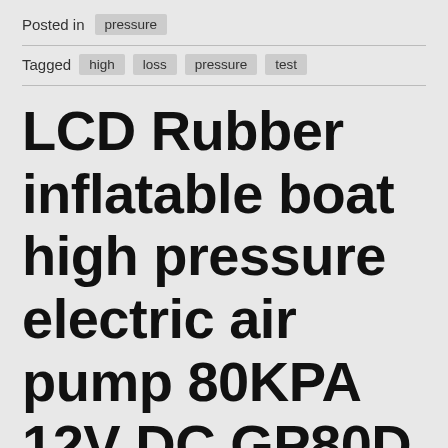Posted in  pressure
Tagged  high  loss  pressure  test
LCD Rubber inflatable boat high pressure electric air pump 80KPA 12V DC GP80D
Posted on September 26, 2020 by admin